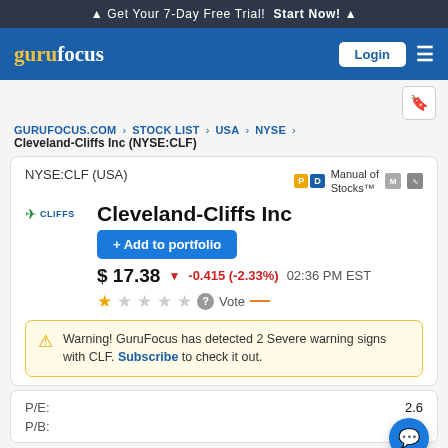Get Your 7-Day Free Trial! Start Now!
[Figure (logo): GuruFocus logo in navigation bar]
GURUFOCUS.COM > STOCK LIST > USA > NYSE > Cleveland-Cliffs Inc (NYSE:CLF)
Cleveland-Cliffs Inc
NYSE:CLF (USA)
Manual of Stocks™
$ 17.38 ▼ -0.415 (-2.33%) 02:36 PM EST
Warning! GuruFocus has detected 2 Severe warning signs with CLF. Subscribe to check it out.
| Metric | Value |
| --- | --- |
| P/E: | 2.6 |
| P/B: | 1.34 |